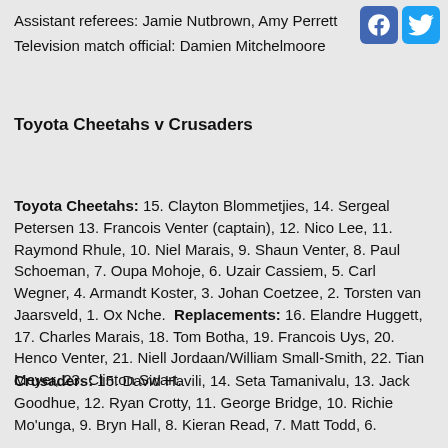Assistant referees: Jamie Nutbrown, Amy Perrett
Television match official: Damien Mitchelmoore
[Figure (logo): Facebook and Twitter social media icons]
Toyota Cheetahs v Crusaders
Toyota Cheetahs: 15. Clayton Blommetjies, 14. Sergeal Petersen 13. Francois Venter (captain), 12. Nico Lee, 11. Raymond Rhule, 10. Niel Marais, 9. Shaun Venter, 8. Paul Schoeman, 7. Oupa Mohoje, 6. Uzair Cassiem, 5. Carl Wegner, 4. Armandt Koster, 3. Johan Coetzee, 2. Torsten van Jaarsveld, 1. Ox Nche. Replacements: 16. Elandre Huggett, 17. Charles Marais, 18. Tom Botha, 19. Francois Uys, 20. Henco Venter, 21. Niell Jordaan/William Small-Smith, 22. Tian Meyer, 23. Clinton Swart.
Crusaders: 15. David Havili, 14. Seta Tamanivalu, 13. Jack Goodhue, 12. Ryan Crotty, 11. George Bridge, 10. Richie Mo'unga, 9. Bryn Hall, 8. Kieran Read, 7. Matt Todd, 6.